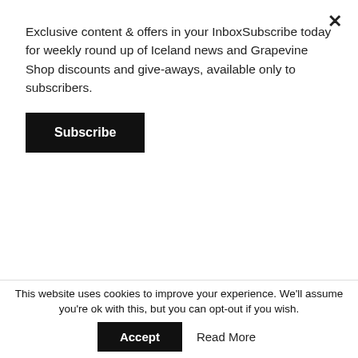Exclusive content & offers in your InboxSubscribe today for weekly round up of Iceland news and Grapevine Shop discounts and give-aways, available only to subscribers.
Subscribe
Reykjavik Jazz Festival Is Play Smoky Family, But It Tastes Great!
by Kim Wagenaar 4 days ago
[Figure (photo): A woman in a white dress standing in a green hilly landscape. A green badge in the top-left reads 'Culture / Music'.]
This website uses cookies to improve your experience. We'll assume you're ok with this, but you can opt-out if you wish.
Accept
Read More